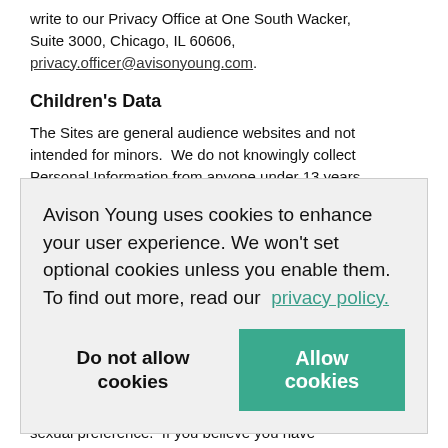write to our Privacy Office at One South Wacker, Suite 3000, Chicago, IL 60606, privacy.officer@avisonyoung.com.
Children's Data
The Sites are general audience websites and not intended for minors.  We do not knowingly collect Personal Information from anyone under 13 years
[Figure (screenshot): Cookie consent banner overlay reading: Avison Young uses cookies to enhance your user experience. We won't set optional cookies unless you enable them. To find out more, read our privacy policy. With two buttons: 'Do not allow cookies' and 'Allow cookies' (green button).]
beliefs, labor union affiliation, political opinions or sexual preference.  If you believe you have